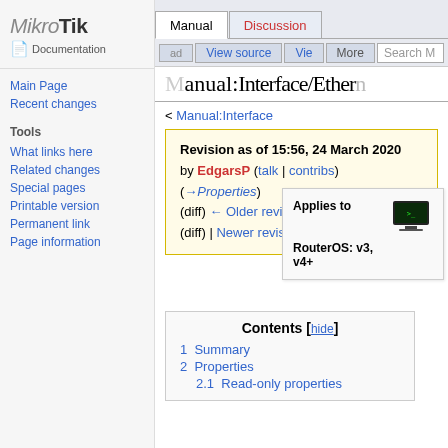[Figure (logo): MikroTik Documentation logo in left sidebar]
Manual | Discussion | View source | View | More | Search M
Manual:Interface/Ether...
< Manual:Interface
Revision as of 15:56, 24 March 2020 by EdgarsP (talk | contribs) (→Properties) (diff) ← Older revision | Latest revision (diff) | Newer revision → (diff)
Applies to
RouterOS: v3, v4+
Contents [hide]
1 Summary
2 Properties
2.1 Read-only properties
Main Page
Recent changes
Tools
What links here
Related changes
Special pages
Printable version
Permanent link
Page information